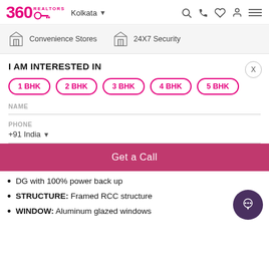360 REALTORS · Kolkata
Convenience Stores · 24X7 Security
I AM INTERESTED IN
1 BHK
2 BHK
3 BHK
4 BHK
5 BHK
NAME
PHONE +91 India
Get a Call
DG with 100% power back up
STRUCTURE: Framed RCC structure
WINDOW: Aluminum glazed windows